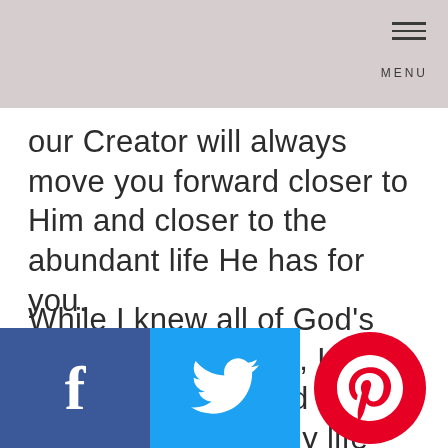MENU
our Creator will always move you forward closer to Him and closer to the abundant life He has for you.
While I knew all of God’s promises to be true, I still let fear creep in and convince me that my life would fall apart. Our lives wor… grou… on
[Figure (infographic): Social share buttons: Facebook (blue), Twitter (light blue), Pinterest (red circular logo)]